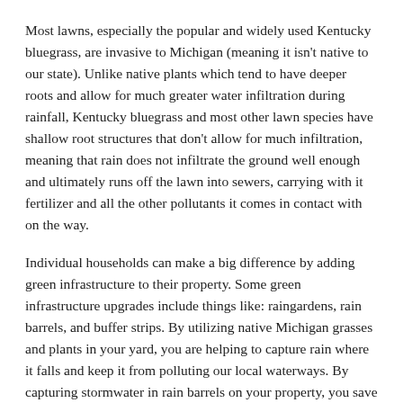Most lawns, especially the popular and widely used Kentucky bluegrass, are invasive to Michigan (meaning it isn't native to our state). Unlike native plants which tend to have deeper roots and allow for much greater water infiltration during rainfall, Kentucky bluegrass and most other lawn species have shallow root structures that don't allow for much infiltration, meaning that rain does not infiltrate the ground well enough and ultimately runs off the lawn into sewers, carrying with it fertilizer and all the other pollutants it comes in contact with on the way.
Individual households can make a big difference by adding green infrastructure to their property. Some green infrastructure upgrades include things like: raingardens, rain barrels, and buffer strips. By utilizing native Michigan grasses and plants in your yard, you are helping to capture rain where it falls and keep it from polluting our local waterways. By capturing stormwater in rain barrels on your property, you save water (and money) as this water is easily reused to maintain your flowerbeds and vegetable gardens. For more information on easy green infrastructure upgrades you can make at home, check out this resource from EPA.